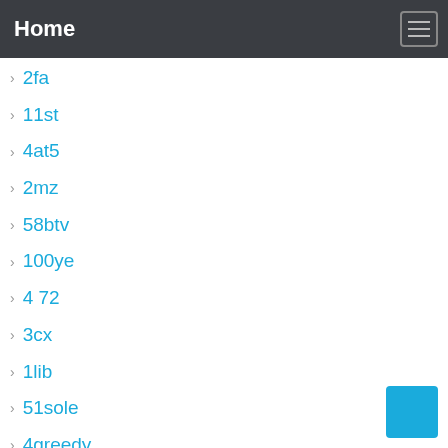Home
2fa
11st
4at5
2mz
58btv
100ye
4 72
3cx
1lib
51sole
4greedy
3dtotal